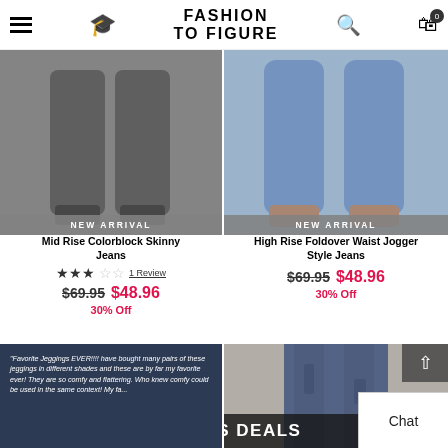FASHION TO FIGURE
[Figure (photo): Mid Rise Colorblock Skinny Jeans product photo showing legs in dark gray/charcoal leggings with heels, labeled NEW ARRIVAL]
[Figure (photo): High Rise Foldover Waist Jogger Style Jeans product photo showing legs in light blue jogger jeans with heeled sandals, labeled NEW ARRIVAL]
Mid Rise Colorblock Skinny Jeans
★★★☆☆ 1 Review
$69.95 $48.96
30% Off
High Rise Foldover Waist Jogger Style Jeans
$69.95 $48.96
30% Off
"Favorite Jeggings EVER!!!! have bought many pairs of these jeggings in different shades and these are by far my favorite ever! They are so comfy and flattering. Who knew comfy could be used in the same context! My fa...
[Figure (photo): Partial photo of woman wearing distressed blue jeans showing torso, partially overlaid by TODAY'S DEALS banner]
TODAY'S DEALS